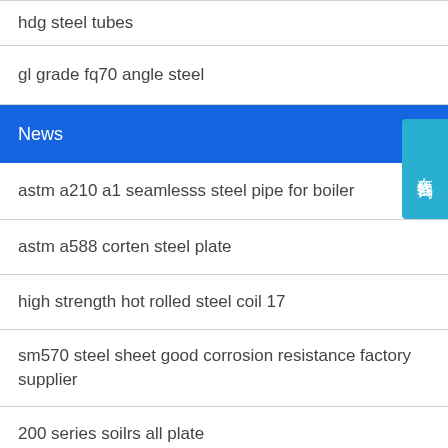hdg steel tubes
gl grade fq70 angle steel
News
astm a210 a1 seamlesss steel pipe for boiler
astm a588 corten steel plate
high strength hot rolled steel coil 17
sm570 steel sheet good corrosion resistance factory supplier
200 series soilrs all plate
oil transportation sm570 steel sheet dealer